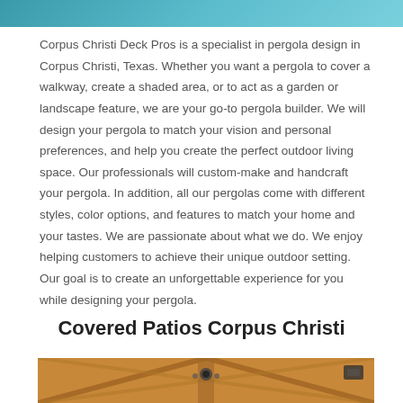[Figure (photo): Top portion of a pool or outdoor water feature with teal/blue water, cropped view]
Corpus Christi Deck Pros is a specialist in pergola design in Corpus Christi, Texas. Whether you want a pergola to cover a walkway, create a shaded area, or to act as a garden or landscape feature, we are your go-to pergola builder. We will design your pergola to match your vision and personal preferences, and help you create the perfect outdoor living space. Our professionals will custom-make and handcraft your pergola. In addition, all our pergolas come with different styles, color options, and features to match your home and your tastes. We are passionate about what we do. We enjoy helping customers to achieve their unique outdoor setting. Our goal is to create an unforgettable experience for you while designing your pergola.
Covered Patios Corpus Christi
[Figure (photo): Close-up of wooden pergola ceiling/roof structure with crossed beams, metal brackets and fasteners visible, warm wood tones]